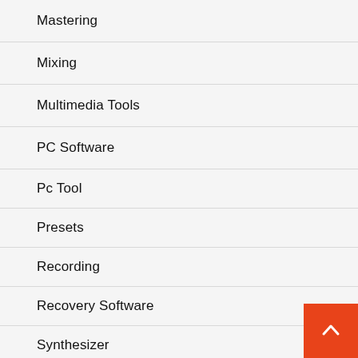Mastering
Mixing
Multimedia Tools
PC Software
Pc Tool
Presets
Recording
Recovery Software
Synthesizer
Uncategorized